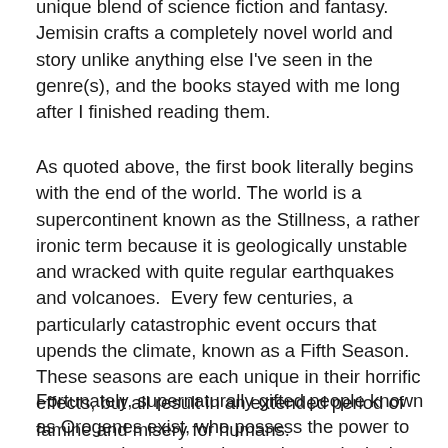unique blend of science fiction and fantasy. Jemisin crafts a completely novel world and story unlike anything else I've seen in the genre(s), and the books stayed with me long after I finished reading them.
As quoted above, the first book literally begins with the end of the world. The world is a supercontinent known as the Stillness, a rather ironic term because it is geologically unstable and wracked with quite regular earthquakes and volcanoes.  Every few centuries, a particularly catastrophic event occurs that upends the climate, known as a Fifth Season. These seasons are each unique in their horrific effects, but all result in an extended period of famine and misery for humans.
Fortunately, supernaturally gifted people known as Orogenes exist, who possess the power to suppress the random destructive geological events.  However, they also